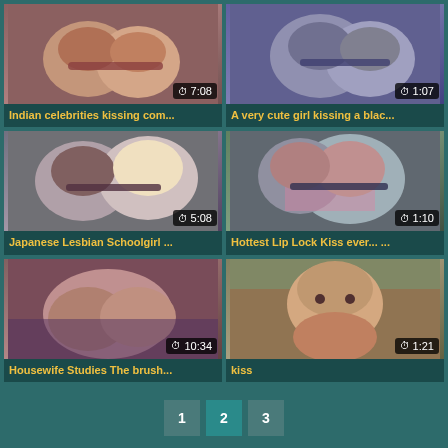[Figure (screenshot): Video thumbnail grid with 6 video cards showing kissing videos, each with duration overlay and title]
Indian celebrities kissing com... 7:08
A very cute girl kissing a blac... 1:07
Japanese Lesbian Schoolgirl ... 5:08
Hottest Lip Lock Kiss ever... ... 1:10
Housewife Studies The brush... 10:34
kiss 1:21
1
2
3